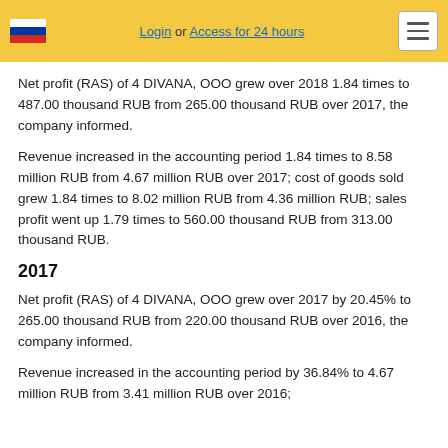Login or Access for 24 hours
Net profit (RAS) of 4 DIVANA, OOO grew over 2018 1.84 times to 487.00 thousand RUB from 265.00 thousand RUB over 2017, the company informed.
Revenue increased in the accounting period 1.84 times to 8.58 million RUB from 4.67 million RUB over 2017; cost of goods sold grew 1.84 times to 8.02 million RUB from 4.36 million RUB; sales profit went up 1.79 times to 560.00 thousand RUB from 313.00 thousand RUB.
2017
Net profit (RAS) of 4 DIVANA, OOO grew over 2017 by 20.45% to 265.00 thousand RUB from 220.00 thousand RUB over 2016, the company informed.
Revenue increased in the accounting period by 36.84% to 4.67 million RUB from 3.41 million RUB over 2016;